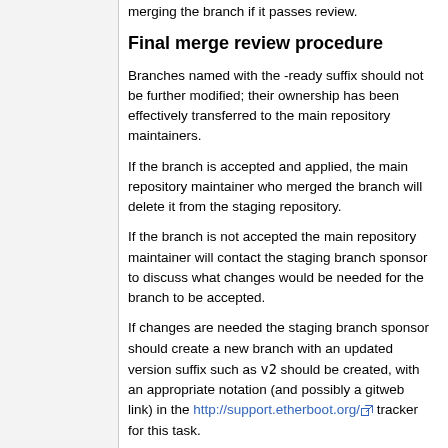merging the branch if it passes review.
Final merge review procedure
Branches named with the -ready suffix should not be further modified; their ownership has been effectively transferred to the main repository maintainers.
If the branch is accepted and applied, the main repository maintainer who merged the branch will delete it from the staging repository.
If the branch is not accepted the main repository maintainer will contact the staging branch sponsor to discuss what changes would be needed for the branch to be accepted.
If changes are needed the staging branch sponsor should create a new branch with an updated version suffix such as v2 should be created, with an appropriate notation (and possibly a gitweb link) in the http://support.etherboot.org/ tracker for this task.